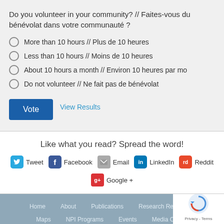Do you volunteer in your community? // Faites-vous du bénévolat dans votre communauté ?
More than 10 hours // Plus de 10 heures
Less than 10 hours // Moins de 10 heures
About 10 hours a month // Environ 10 heures par mo
Do not volunteer // Ne fait pas de bénévolat
Vote   View Results
Like what you read? Spread the word!
Tweet  Facebook  Email  LinkedIn  Reddit  Google +
Home  About  Publications  Research Resources  Maps  NPI Programs  Events  Media Centre  Get Involved  Contact Us  Careers